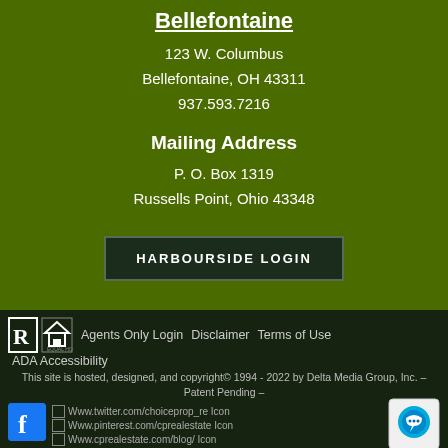Bellefontaine
123 W. Columbus
Bellefontaine, OH 43311
937.593.7216
Mailing Address
P. O. Box 1319
Russells Point, Ohio 43348
HARBOURSIDE LOGIN
Agents Only Login   Disclaimer   Terms of Use
ADA Accessibility
This site is hosted, designed, and copyright© 1994 - 2022 by Delta Media Group, Inc. – Patent Pending –
[Figure (logo): Facebook icon, Twitter icon (www.twitter.com/choiceprop_re), Pinterest icon (www.pinterest.com/cprealestate), Blog icon (www.cprealestate.com/blog/), and chat bubble icon]
[Figure (logo): Realtor and Equal Housing logos]